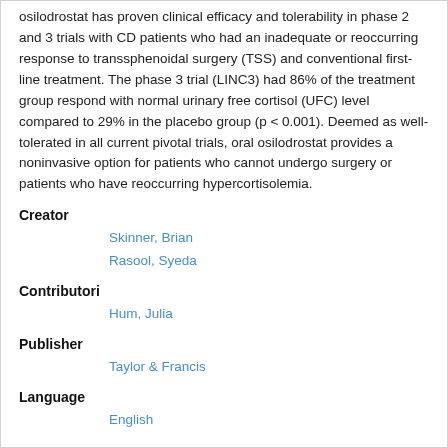...osilodrostat has proven clinical efficacy and tolerability in phase 2 and 3 trials with CD patients who had an inadequate or reoccurring response to transsphenoidal surgery (TSS) and conventional first-line treatment. The phase 3 trial (LINC3) had 86% of the treatment group respond with normal urinary free cortisol (UFC) level compared to 29% in the placebo group (p < 0.001). Deemed as well-tolerated in all current pivotal trials, oral osilodrostat provides a noninvasive option for patients who cannot undergo surgery or patients who have reoccurring hypercortisolemia.
Creator
Skinner, Brian
Rasool, Syeda
Contributori
Hum, Julia
Publisher
Taylor & Francis
Language
English